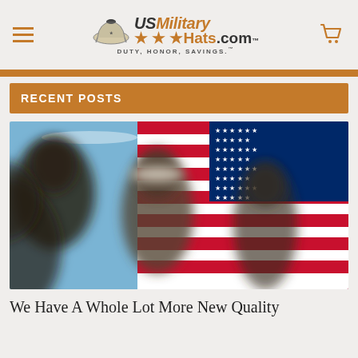USMilitary Hats.com — DUTY, HONOR, SAVINGS.™
RECENT POSTS
[Figure (photo): Military personnel in dress uniforms standing at attention in front of a large American flag waving against a blue sky. The faces are blurred. The service members are wearing military dress caps.]
We Have A Whole Lot More New Quality